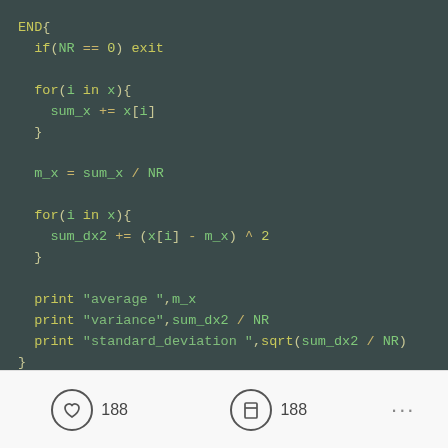END{
    if(NR == 0) exit

    for(i in x){
      sum_x += x[i]
    }

    m_x = sum_x / NR

    for(i in x){
      sum_dx2 += (x[i] - m_x) ^ 2
    }

    print "average ",m_x
    print "variance",sum_dx2 / NR
    print "standard_deviation ",sqrt(sum_dx2 / NR)
}
[Figure (screenshot): Social media footer bar with heart icon showing 188 likes, bookmark icon showing 188 saves, and a three-dot menu]